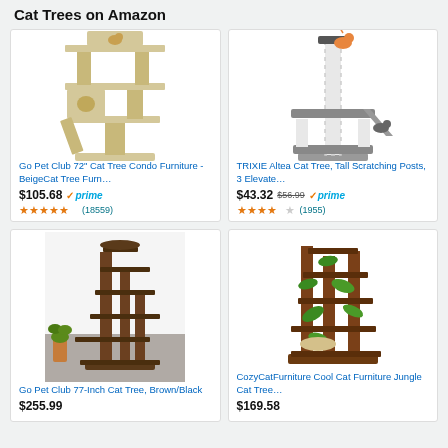Cat Trees on Amazon
[Figure (photo): Go Pet Club 72 inch Cat Tree Condo Furniture in beige, multi-level with condos and perches]
Go Pet Club 72" Cat Tree Condo Furniture - BeigeCat Tree Furn…
$105.68 ✓prime ★★★★★ (18559)
[Figure (photo): TRIXIE Altea Cat Tree with tall scratching posts and elevated platforms, two cats climbing]
TRIXIE Altea Cat Tree, Tall Scratching Posts, 3 Elevate…
$43.32 $56.99 ✓prime ★★★★☆ (1955)
[Figure (photo): Go Pet Club 77-Inch Cat Tree in Brown/Black with multiple levels and sisal posts]
Go Pet Club 77-Inch Cat Tree, Brown/Black
$255.99
[Figure (photo): CozyCatFurniture Cool Cat Furniture Jungle Cat Tree with green leaf decorations and brown wood structure]
CozyCatFurniture Cool Cat Furniture Jungle Cat Tree…
$169.58